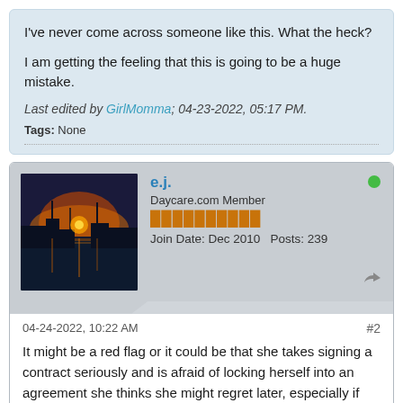I've never come across someone like this. What the heck?

I am getting the feeling that this is going to be a huge mistake.
Last edited by GirlMomma; 04-23-2022, 05:17 PM.
Tags: None
e.j.
Daycare.com Member
Join Date: Dec 2010   Posts: 239
04-24-2022, 10:22 AM
#2
It might be a red flag or it could be that she takes signing a contract seriously and is afraid of locking herself into an agreement she thinks she might regret later, especially if this is her first daycare experience. If it were me, I'd ask her if there is something in the contract that concerns her. Maybe